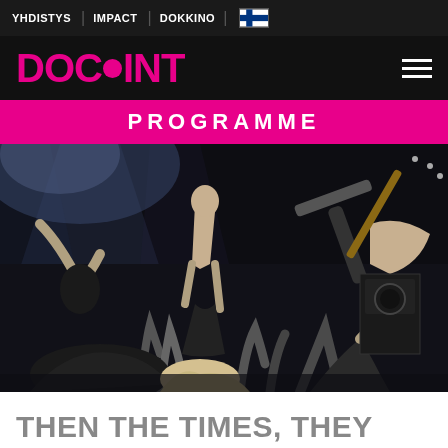YHDISTYS | IMPACT | DOKKINO |
[Figure (logo): DOCPOINT logo in pink/magenta on black background with a filled circle replacing the letter O]
PROGRAMME
[Figure (photo): Black and white concert photo showing a shirtless performer on stage crowd surfing with audience members reaching up, guitarists visible on the right side, dramatic stage lighting]
THEN THE TIMES, THEY CHANGED